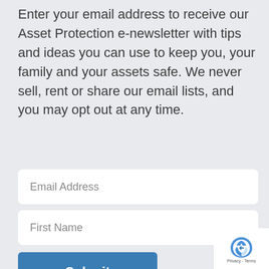Enter your email address to receive our Asset Protection e-newsletter with tips and ideas you can use to keep you, your family and your assets safe. We never sell, rent or share our email lists, and you may opt out at any time.
Email Address
First Name
Submit
[Figure (other): reCAPTCHA badge with logo and Privacy - Terms text]